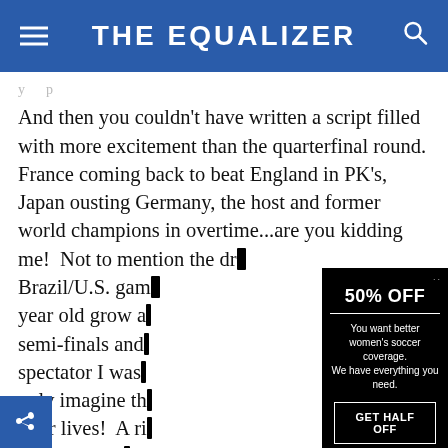THE EQUALIZER
And then you couldn't have written a script filled with more excitement than the quarterfinal round. France coming back to beat England in PK's, Japan ousting Germany, the host and former world champions in overtime...are you kidding me!  Not to mention the dra[matic] Brazil/U.S. gam[e...a 15] year old grow a[nd the] semi-finals and[...as a] spectator I was[...can] only imagine th[e fans'] their lives!  A ri[de...] portunity to [...]
[Figure (screenshot): Promotional ad overlay on black background: '50% OFF' headline, divider line, body text 'You want better women's soccer coverage. We have everything you need.', and a 'GET HALF OFF' button with white border.]